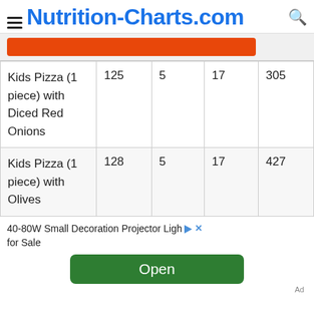Nutrition-Charts.com
| Item | Cal | Fat | Carb | Sodium |
| --- | --- | --- | --- | --- |
| Kids Pizza (1 piece) with Diced Red Onions | 125 | 5 | 17 | 305 |
| Kids Pizza (1 piece) with Olives | 128 | 5 | 17 | 427 |
40-80W Small Decoration Projector Light for Sale
Open
Ad